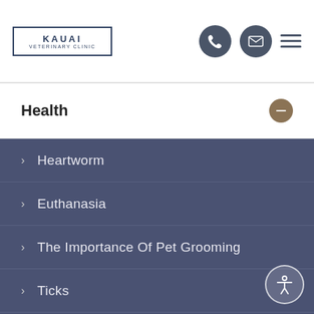[Figure (logo): Kauai Veterinary Clinic logo — text in a bordered box]
[Figure (infographic): Navigation icons: phone circle, email circle, hamburger menu]
Health
Heartworm
Euthanasia
The Importance Of Pet Grooming
Ticks